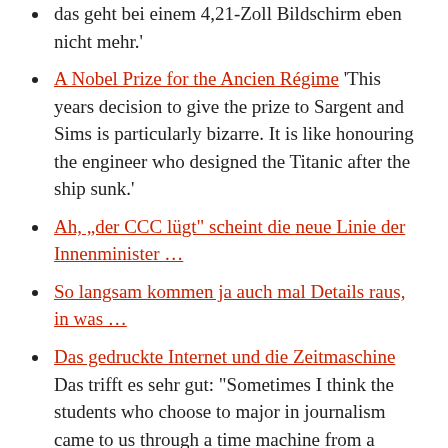das geht bei einem 4,21-Zoll Bildschirm eben nicht mehr.'
A Nobel Prize for the Ancien Régime 'This years decision to give the prize to Sargent and Sims is particularly bizarre. It is like honouring the engineer who designed the Titanic after the ship sunk.'
Ah, „der CCC lügt" scheint die neue Linie der Innenminister …
So langsam kommen ja auch mal Details raus, in was …
Das gedruckte Internet und die Zeitmaschine Das trifft es sehr gut: "Sometimes I think the students who choose to major in journalism came to us through a time machine from a place where people still read text that is printed on paper. What's especially strange is that